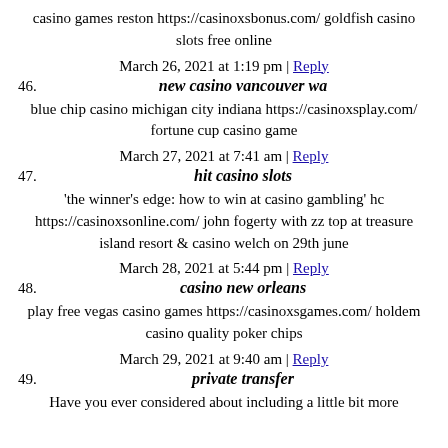casino games reston https://casinoxsbonus.com/ goldfish casino slots free online
March 26, 2021 at 1:19 pm | Reply
46. new casino vancouver wa
blue chip casino michigan city indiana https://casinoxsplay.com/ fortune cup casino game
March 27, 2021 at 7:41 am | Reply
47. hit casino slots
'the winner's edge: how to win at casino gambling' hc https://casinoxsonline.com/ john fogerty with zz top at treasure island resort & casino welch on 29th june
March 28, 2021 at 5:44 pm | Reply
48. casino new orleans
play free vegas casino games https://casinoxsgames.com/ holdem casino quality poker chips
March 29, 2021 at 9:40 am | Reply
49. private transfer
Have you ever considered about including a little bit more